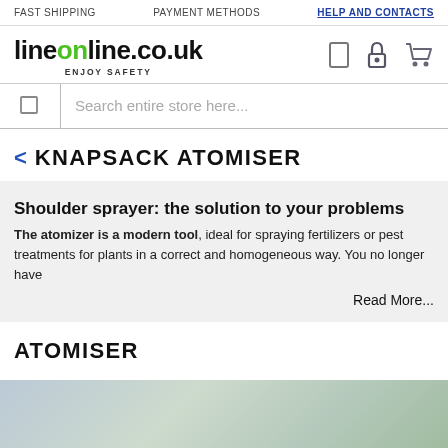FAST SHIPPING   PAYMENT METHODS   HELP AND CONTACTS
[Figure (logo): lineonline.co.uk logo with ENJOY SAFETY tagline, plus search/lock/cart icons]
Search entire store here...
< KNAPSACK ATOMISER
Shoulder sprayer: the solution to your problems
The atomizer is a modern tool, ideal for spraying fertilizers or pest treatments for plants in a correct and homogeneous way. You no longer have
Read More...
ATOMISER
[Figure (photo): Outdoor scene with trees, blurred background, bottom of page]